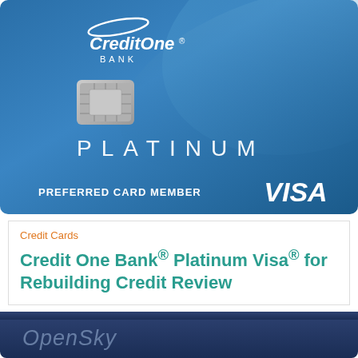[Figure (illustration): Credit One Bank Platinum Visa credit card — blue gradient background with brushed metal chip, PLATINUM text, PREFERRED CARD MEMBER label, CreditOne Bank logo top-left, VISA logo bottom-right]
Credit Cards
Credit One Bank® Platinum Visa® for Rebuilding Credit Review
[Figure (photo): Partial view of an OpenSky credit card — dark navy blue background with OpenSky text visible]